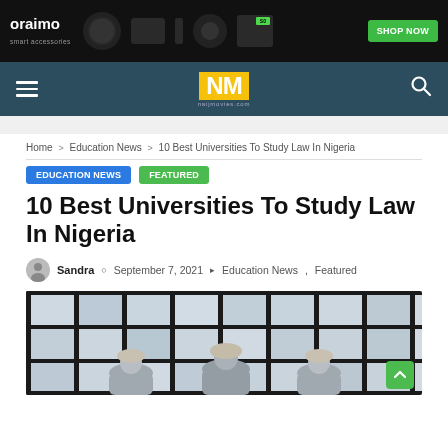[Figure (screenshot): Oraimo smart accessories advertisement banner with product images and green 'SHOP NOW' button on black background]
NM naijmovies.com — navigation bar with hamburger menu, NM logo, and search icon
Home > Education News > 10 Best Universities To Study Law In Nigeria
EDUCATION NEWS   FEATURED
10 Best Universities To Study Law In Nigeria
Sandra   September 7, 2021   Education News , Featured
[Figure (photo): Three people wearing legal wigs (barristers) standing in front of a building with large glass windows]